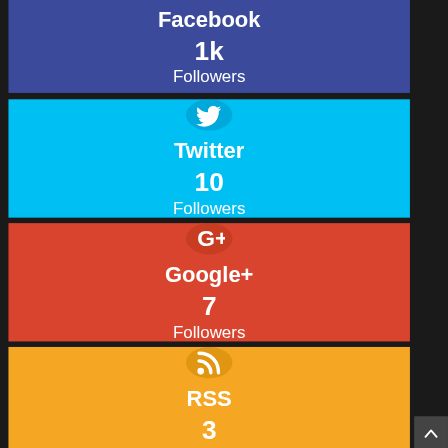[Figure (infographic): Facebook social media follower card showing 1k Followers on dark blue background (partially visible at top)]
[Figure (infographic): Twitter social media follower card showing Twitter bird icon, '10 Followers' on cyan/blue background]
[Figure (infographic): Google+ social media follower card showing G+ icon, '7 Followers' on red/orange background]
[Figure (infographic): RSS social media follower card showing RSS icon, '3 Followers' on orange background]
[Figure (infographic): Partial blue strip at bottom, likely another social card]